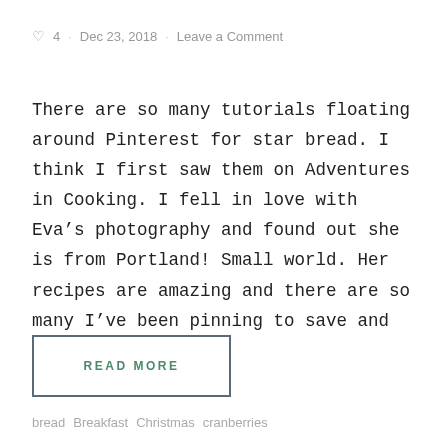♥ 4 · Dec 23, 2018 · Leave a Comment
There are so many tutorials floating around Pinterest for star bread. I think I first saw them on Adventures in Cooking. I fell in love with Eva's photography and found out she is from Portland! Small world. Her recipes are amazing and there are so many I've been pinning to save and try at a…
READ MORE
bread  Breakfast  Christmas  cranberries